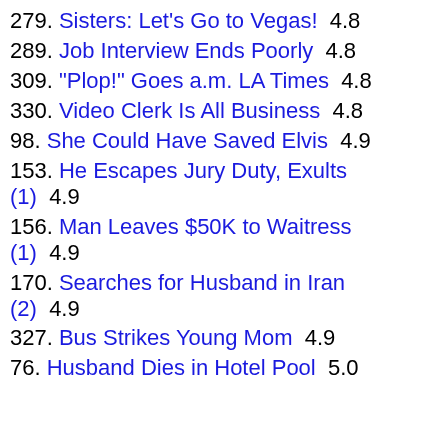279. Sisters: Let's Go to Vegas!  4.8
289. Job Interview Ends Poorly  4.8
309. "Plop!" Goes a.m. LA Times  4.8
330. Video Clerk Is All Business  4.8
98. She Could Have Saved Elvis  4.9
153. He Escapes Jury Duty, Exults (1)  4.9
156. Man Leaves $50K to Waitress (1)  4.9
170. Searches for Husband in Iran (2)  4.9
327. Bus Strikes Young Mom  4.9
76. Husband Dies in Hotel Pool  5.0